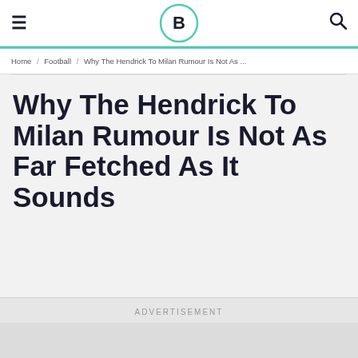≡  [B logo]  🔍
Home / Football / Why The Hendrick To Milan Rumour Is Not As ...
Why The Hendrick To Milan Rumour Is Not As Far Fetched As It Sounds
ADVERTISEMENT